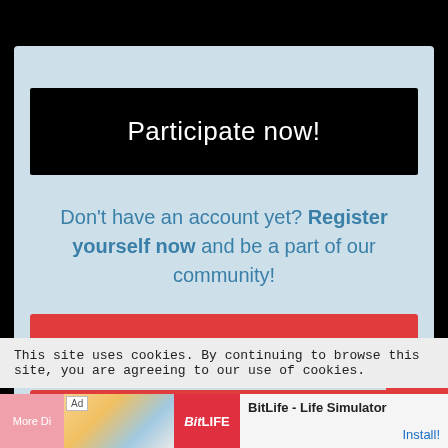Participate now!
Don't have an account yet? Register yourself now and be a part of our community!
REGISTER YOURSELF
LOGIN
This site uses cookies. By continuing to browse this site, you are agreeing to our use of cookies.
BitLife - Life Simulator  Install!